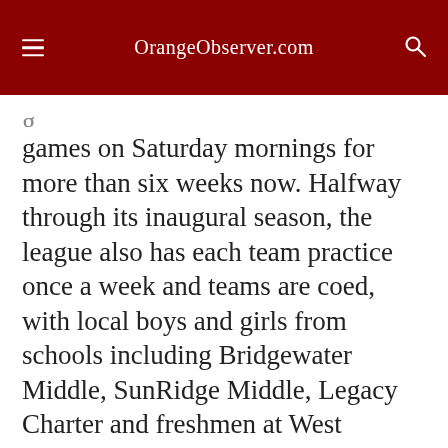OrangeObserver.com
games on Saturday mornings for more than six weeks now. Halfway through its inaugural season, the league also has each team practice once a week and teams are coed, with local boys and girls from schools including Bridgewater Middle, SunRidge Middle, Legacy Charter and freshmen at West Orange and Windermere High working together on each side.
The coed format has been a success, Gitto said, creating a unique atmosphere balancing competition and friendliness.